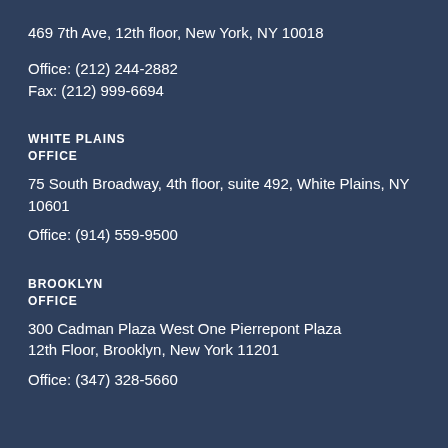469 7th Ave, 12th floor, New York, NY 10018
Office: (212) 244-2882
Fax: (212) 999-6694
WHITE PLAINS
OFFICE
75 South Broadway, 4th floor, suite 492, White Plains, NY 10601
Office: (914) 559-9500
BROOKLYN
OFFICE
300 Cadman Plaza West One Pierrepont Plaza
12th Floor, Brooklyn, New York 11201
Office: (347) 328-5660